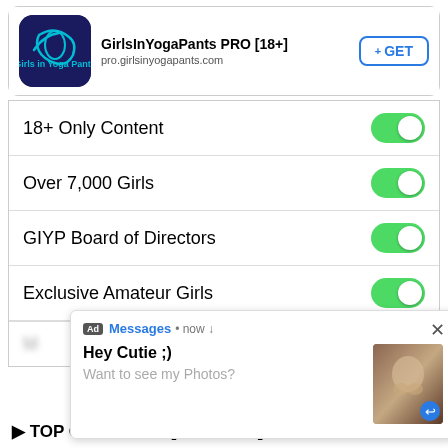[Figure (screenshot): App store listing for GirlsInYogaPants PRO [18+] with app icon, URL pro.girlsinyogapants.com and GET button]
18+ Only Content — toggle ON
Over 7,000 Girls — toggle ON
GIYP Board of Directors — toggle ON
Exclusive Amateur Girls — toggle ON
[Figure (screenshot): Ad popup overlay from Messages • now showing: Hey Cutie ;) Want to see my Photos? with thumbnail image]
▶ TOP GALLERIES [UM...OMG]